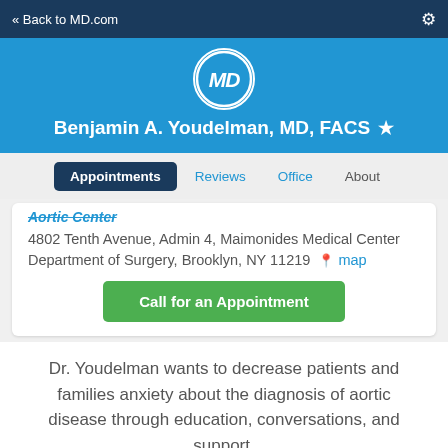« Back to MD.com
Benjamin A. Youdelman, MD, FACS
Appointments | Reviews | Office | About
Aortic Center
4802 Tenth Avenue, Admin 4, Maimonides Medical Center Department of Surgery, Brooklyn, NY 11219  map
Call for an Appointment
Dr. Youdelman wants to decrease patients and families anxiety about the diagnosis of aortic disease through education, conversations, and support.